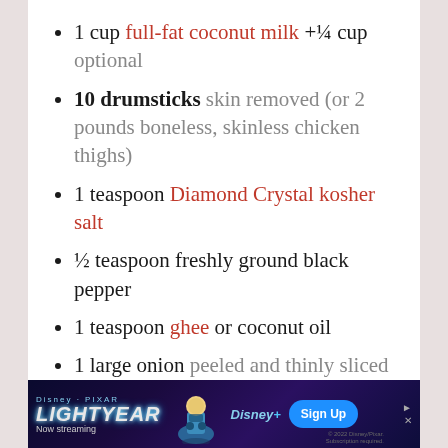1 cup full-fat coconut milk +¼ cup optional
10 drumsticks skin removed (or 2 pounds boneless, skinless chicken thighs)
1 teaspoon Diamond Crystal kosher salt
½ teaspoon freshly ground black pepper
1 teaspoon ghee or coconut oil
1 large onion peeled and thinly sliced
¼ cup fresh cilantro chopped
Juice from 1 lime optional
[Figure (screenshot): Disney Pixar Lightyear advertisement banner with Buzz Lightyear, Disney+ logo, Sign Up button, Now streaming text]